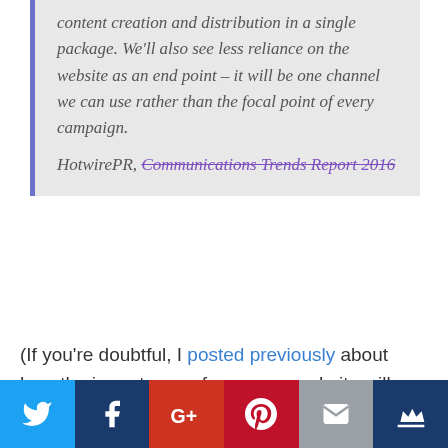content creation and distribution in a single package. We'll also see less reliance on the website as an end point – it will be one channel we can use rather than the focal point of every campaign.
HotwirePR, Communications Trends Report 2016
(If you're doubtful, I posted previously about how the importance of your own website will slide over time, and the reasons why. You can't afford to ignore the trend.)
[Figure (other): Social sharing bar with icons for Twitter, Facebook, Google+, Pinterest, Email, and a crown/bookmark icon]